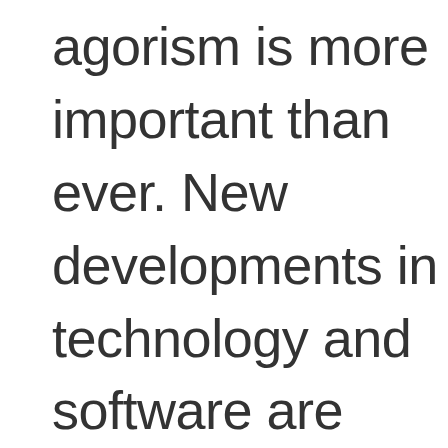agorism is more important than ever. New developments in technology and software are increasingly